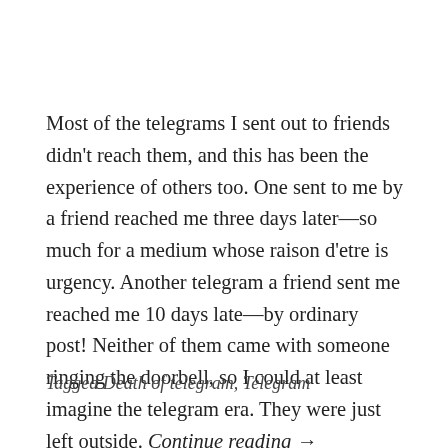Most of the telegrams I sent out to friends didn't reach them, and this has been the experience of others too. One sent to me by a friend reached me three days later—so much for a medium whose raison d'etre is urgency. Another telegram a friend sent me reached me 10 days late—by ordinary post! Neither of them came with someone ringing the doorbell, so I could at least imagine the telegram era. They were just left outside. Continue reading →
Tagged Death of telegram, Telegram